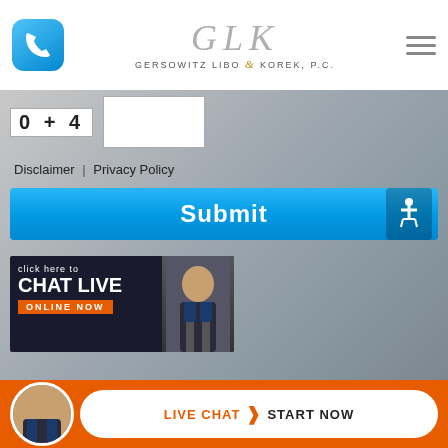[Figure (logo): Gersowitz Libo & Korek, P.C. law firm logo with phone icon and hamburger menu]
[Figure (other): CAPTCHA math challenge: 0 + 4 with answer input box]
Disclaimer | Privacy Policy
[Figure (other): Blue Submit button with accessibility icon]
[Figure (other): Click here to CHAT LIVE ONLINE NOW banner with man in suit photo]
[Figure (other): Orange bottom bar with LIVE CHAT > START NOW button and attorney photo]